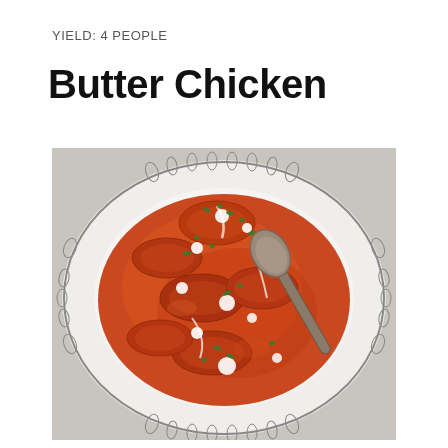YIELD: 4 PEOPLE
Butter Chicken
[Figure (photo): Overhead photo of a white oval plate with decorative floral border pattern containing butter chicken — pieces of chicken in rich orange-red tomato cream sauce, drizzled with white cream and topped with fresh green herbs, with a silver serving spoon resting in the dish, set on a light grey surface.]